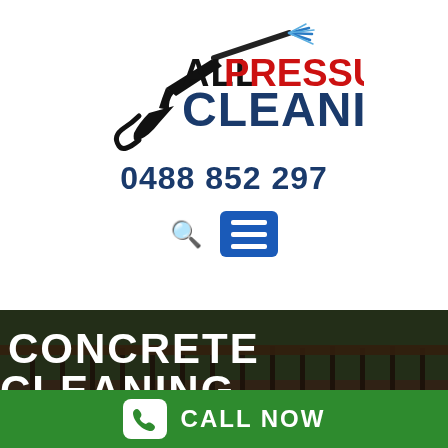[Figure (logo): All Pressure Cleaning logo with pressure washer gun graphic. Text: ALL in black, PRESSURE in red, CLEANING in dark blue, with water spray lines in blue.]
0488 852 297
[Figure (other): Search icon (magnifying glass) and blue hamburger menu button]
[Figure (photo): Dark outdoor deck/balcony with wooden railing and forest background, overlaid with semi-transparent dark overlay]
CONCRETE CLEANING
CALL NOW